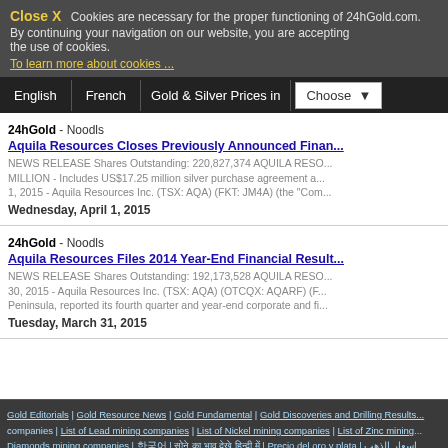Close X  Cookies are necessary for the proper functioning of 24hGold.com. By continuing your navigation on our website, you are accepting the use of cookies.
To learn more about cookies ...
English | French | Gold & Silver Prices in | Choose
24hGold - Noodls
Aquila Resources Closes Previously Announced Finan...
NEWS RELEASE Shares Outstanding: 220,827,374 AQUILA RESO... MILLION - Includes US$17.25 million silver purchase agreement a... 1, 2015 - Aquila Resources Inc. (TSX: AQA) (FKT: JM4A) (the "Com...
Wednesday, April 1, 2015
24hGold - Noodls
Aquila Resources Files 2014 Year-End Financial Result...
NEWS RELEASE Shares Outstanding: 192,173,528 AQUILA RESO... 30, 2015 - Aquila Resources Inc. (TSX: AQA) (OTCQX: AQARF) (F... Peninsula, reported its fourth quarter and year-end corporate and fi...
Tuesday, March 31, 2015
Gold Editorials | Gold Resource News | Gold Fundamental | Gold Discoveries and Drilling Results | ... companies | List of Lead mining companies | List of Nickel mining companies | List of Zinc mining... Diamonds mining companies | ... | ... | Precio del oro y plata | اسعار الذهب الفضة |
FORUM   WORLD PM NEWSFLOW